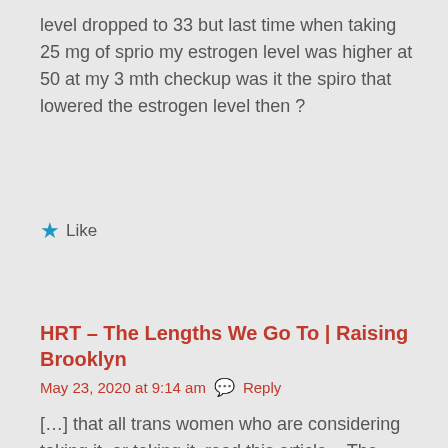level dropped to 33 but last time when taking 25 mg of sprio my estrogen level was higher at 50 at my 3 mth checkup was it the spiro that lowered the estrogen level then ?
★ Like
HRT – The Lengths We Go To | Raising Brooklyn
May 23, 2020 at 9:14 am   Reply
[…] that all trans women who are considering taking it, or taking it, read this article – The Case Against Spironolactone. Furthermore, following the Dr. Will Powers method of transition, I found that I did even need it. […]